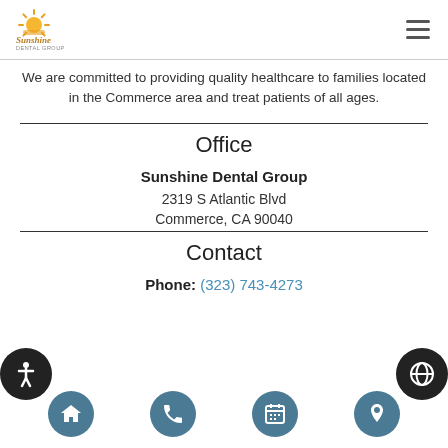[Figure (logo): Sunshine Dental Group logo — sun with rays above the brand name]
We are committed to providing quality healthcare to families located in the Commerce area and treat patients of all ages.
Office
Sunshine Dental Group
2319 S Atlantic Blvd
Commerce, CA 90040
Contact
Phone: (323) 743-4273
[Figure (infographic): Bottom navigation bar with four icon circles: home, phone, calendar, location pin]